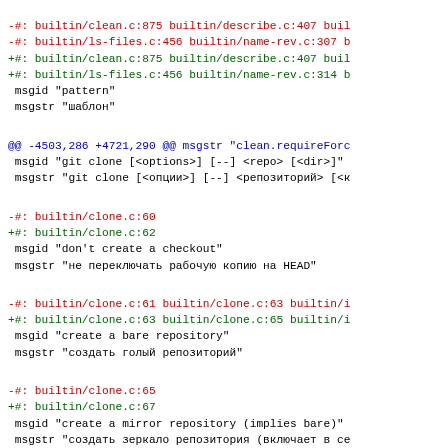-#: builtin/clean.c:875 builtin/describe.c:407 buil
-#: builtin/ls-files.c:456 builtin/name-rev.c:307 b
+#: builtin/clean.c:875 builtin/describe.c:407 buil
+#: builtin/ls-files.c:456 builtin/name-rev.c:314 b
 msgid "pattern"
 msgstr "шаблон"
@@ -4503,286 +4721,290 @@ msgstr "clean.requireForc
 msgid "git clone [<options>] [--] <repo> [<dir>]"
 msgstr "git clone [<опции>] [--] <репозиторий> [<к
-#: builtin/clone.c:60
+#: builtin/clone.c:62
 msgid "don't create a checkout"
 msgstr "не переключать рабочую копию на HEAD"
-#: builtin/clone.c:61 builtin/clone.c:63 builtin/i
+#: builtin/clone.c:63 builtin/clone.c:65 builtin/i
 msgid "create a bare repository"
 msgstr "создать голый репозиторий"
-#: builtin/clone.c:65
+#: builtin/clone.c:67
 msgid "create a mirror repository (implies bare)"
 msgstr "создать зеркало репозитория (включает в се
-#: builtin/clone.c:67
+#: builtin/clone.c:69
 msgid "to clone from a local repository"